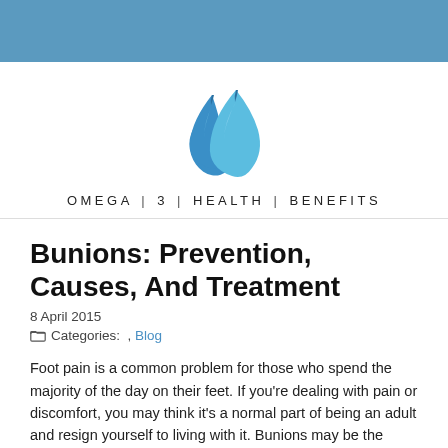[Figure (logo): Omega 3 Health Benefits logo: two blue water drop shapes with text OMEGA | 3 | HEALTH | BENEFITS below]
Bunions: Prevention, Causes, And Treatment
8 April 2015
Categories: , Blog
Foot pain is a common problem for those who spend the majority of the day on their feet. If you're dealing with pain or discomfort, you may think it's a normal part of being an adult and resign yourself to living with it. Bunions may be the issue, and pain doesn't have to